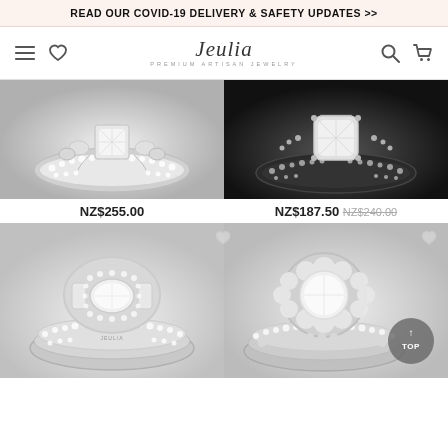READ OUR COVID-19 DELIVERY & SAFETY UPDATES >>
[Figure (logo): Jeulia Premium Artisan Jewelry logo with navigation icons (hamburger menu, heart, search, cart)]
[Figure (photo): Two diamond engagement ring product photos (top row) - left: silver ring with princess cut center stone and pave band, right: silver ring with large cushion cut center stone on dark background]
NZ$255.00
NZ$187.50 NZ$240.00
[Figure (photo): Two diamond engagement ring product photos (bottom row) - left: silver three-stone ring with baguette and oval diamonds, right: silver halo ring set with round center stone]